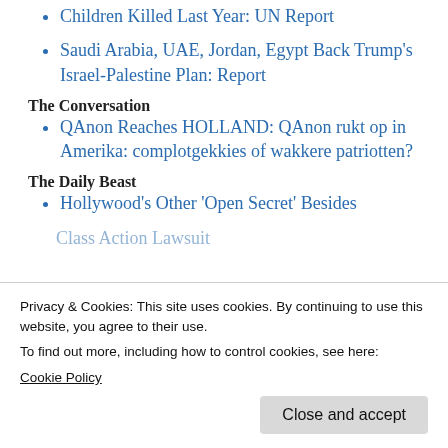Children Killed Last Year: UN Report
Saudi Arabia, UAE, Jordan, Egypt Back Trump's Israel-Palestine Plan: Report
The Conversation
QAnon Reaches HOLLAND: QAnon rukt op in Amerika: complotgekkies of wakkere patriotten?
The Daily Beast
Hollywood's Other 'Open Secret' Besides
Privacy & Cookies: This site uses cookies. By continuing to use this website, you agree to their use.
To find out more, including how to control cookies, see here:
Cookie Policy
Class Action Lawsuit